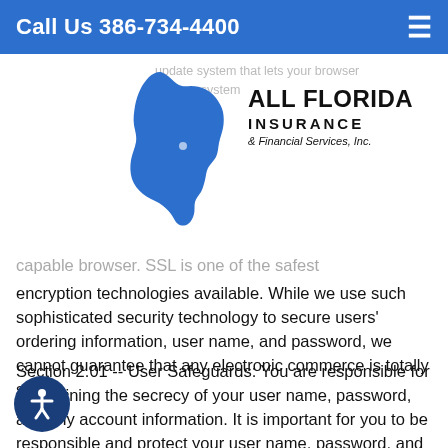Call Us 386-734-4400
[Figure (logo): All Florida Insurance & Financial Services, Inc. logo with Florida state map silhouette in blue]
capable browser. SSL is one of the safest encryption technologies available. While we use such sophisticated security technology to secure users' ordering information, user name, and password, we cannot guarantee that any electronic commerce is totally secure.
Section 2.01 -- User Safeguards: You are responsible for maintaining the secrecy of your user name, password, and any account information. It is important for you to be responsible and protect your user name, password, and computer against unauthorized users. It is important to sign off when you have completed using a...